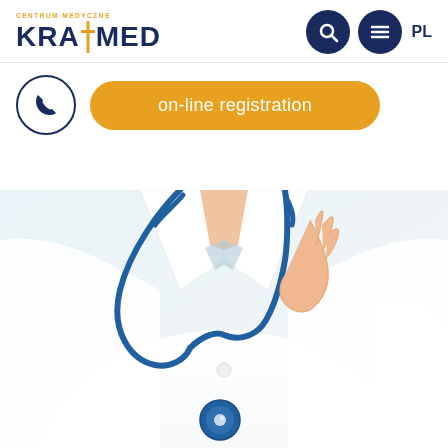[Figure (logo): KrajMed Centrum Medyczne logo with orange cross and dark blue text]
[Figure (other): Navigation icons: search (magnifying glass) and hamburger menu in dark blue circles, PL language selector]
[Figure (other): Phone icon in dark blue circle outline]
on-line registration
[Figure (photo): Doctor in white lab coat holding a blue stethoscope, close-up torso shot]